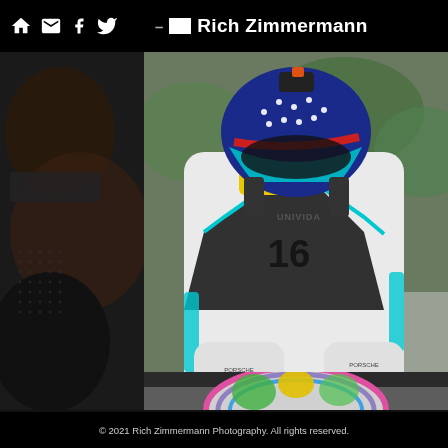Rich Zimmermann
[Figure (photo): Racing driver in white race suit with teal/black accents, Mountain Motorsports and Univida sponsor logos, arms crossed, wearing an American flag-themed helmet. Photo watermarked '© Rich Zimmermann'.]
[Figure (photo): Partial view of a colorful racing helmet at the bottom of the page.]
© 2021 Rich Zimmermann Photography. All rights reserved.